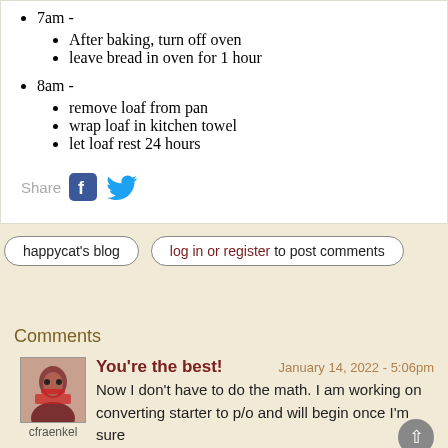7am -
After baking, turn off oven
leave bread in oven for 1 hour
8am -
remove loaf from pan
wrap loaf in kitchen towel
let loaf rest 24 hours
Share
happycat's blog
log in or register to post comments
Comments
You're the best!
January 14, 2022 - 5:06pm
cfraenkel
Now I don't have to do the math.  I am working on converting starter to p/o and will begin once I'm sure